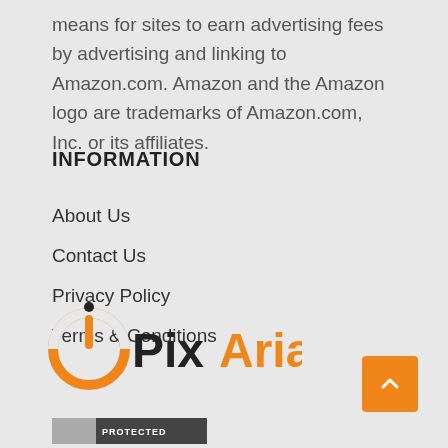means for sites to earn advertising fees by advertising and linking to Amazon.com. Amazon and the Amazon logo are trademarks of Amazon.com, Inc. or its affiliates.
INFORMATION
About Us
Contact Us
Privacy Policy
Terms & Conditions
[Figure (logo): PixAria logo with orange circular power icon and text 'PixAria' in black and orange]
[Figure (other): DMCA protected badge with gray and dark sections]